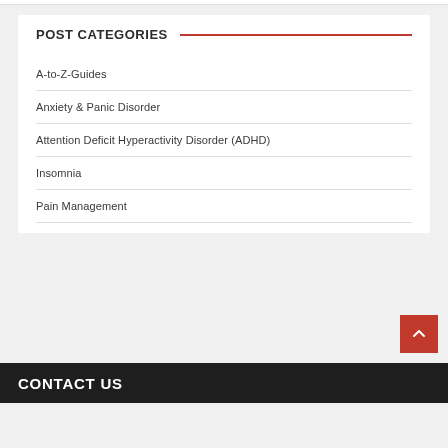POST CATEGORIES
A-to-Z-Guides
Anxiety & Panic Disorder
Attention Deficit Hyperactivity Disorder (ADHD)
Insomnia
Pain Management
CONTACT US